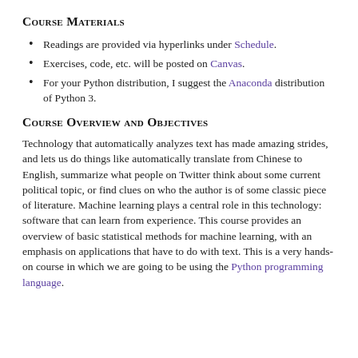Course Materials
Readings are provided via hyperlinks under Schedule.
Exercises, code, etc. will be posted on Canvas.
For your Python distribution, I suggest the Anaconda distribution of Python 3.
Course Overview and Objectives
Technology that automatically analyzes text has made amazing strides, and lets us do things like automatically translate from Chinese to English, summarize what people on Twitter think about some current political topic, or find clues on who the author is of some classic piece of literature. Machine learning plays a central role in this technology: software that can learn from experience. This course provides an overview of basic statistical methods for machine learning, with an emphasis on applications that have to do with text. This is a very hands-on course in which we are going to be using the Python programming language.